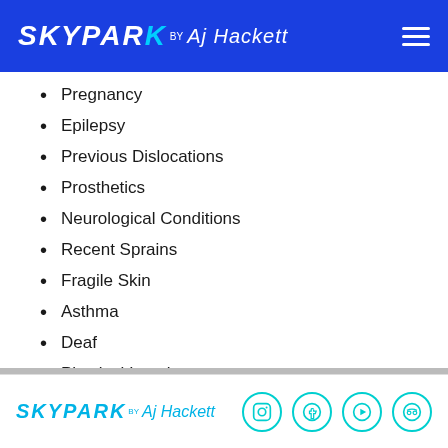SKYPARK BY AJ Hackett
Pregnancy
Epilepsy
Previous Dislocations
Prosthetics
Neurological Conditions
Recent Sprains
Fragile Skin
Asthma
Deaf
Physical Impairments
Recent Surgical Procedures
All Physical Disabilities
Any Other Medical Condition
SKYPARK BY AJ Hackett — social icons: Instagram, Facebook, YouTube, TripAdvisor